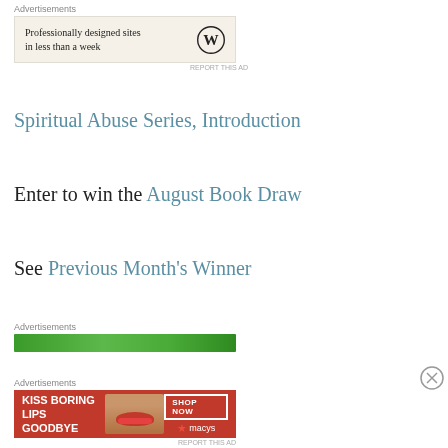[Figure (screenshot): Advertisement box: 'Professionally designed sites in less than a week' with WordPress logo on beige background]
Spiritual Abuse Series, Introduction
Enter to win the August Book Draw
See Previous Month's Winner
[Figure (screenshot): Green advertisement banner]
[Figure (screenshot): Macy's advertisement: 'KISS BORING LIPS GOODBYE' with SHOP NOW button and Macy's star logo]